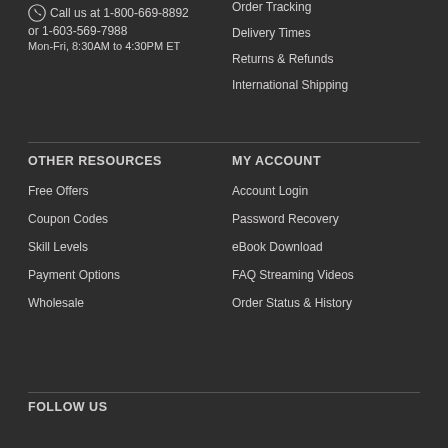Call us at 1-800-669-8892 or 1-603-569-7988 Mon-Fri, 8:30AM to 4:30PM ET
Order Tracking
Delivery Times
Returns & Refunds
International Shipping
OTHER RESOURCES
Free Offers
Coupon Codes
Skill Levels
Payment Options
Wholesale
MY ACCOUNT
Account Login
Password Recovery
eBook Download
FAQ Streaming Videos
Order Status & History
FOLLOW US